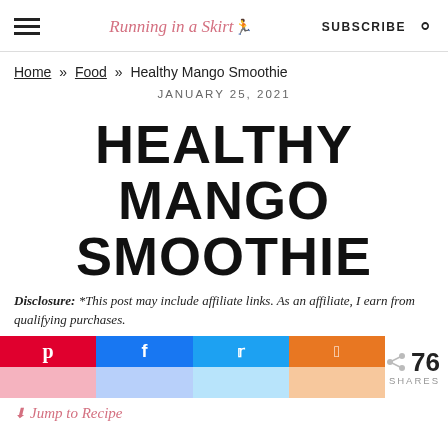Running in a Skirt  SUBSCRIBE
Home » Food » Healthy Mango Smoothie
JANUARY 25, 2021
HEALTHY MANGO SMOOTHIE
Disclosure: *This post may include affiliate links. As an affiliate, I earn from qualifying purchases.
[Figure (infographic): Social share buttons: Pinterest, Facebook, Twitter, Yummly, with 76 SHARES count]
Jump to Recipe